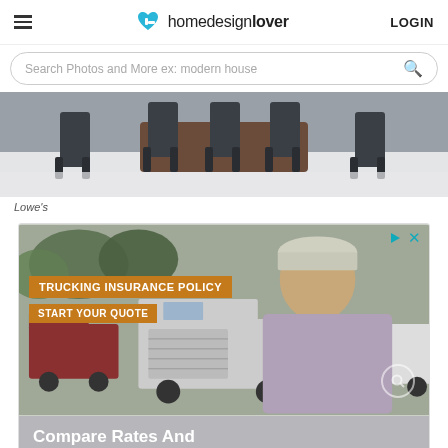homedesignlover LOGIN
Search Photos and More ex: modern house
[Figure (photo): Furniture photo showing dark chairs around a dining table on a light floor]
Lowe's
[Figure (photo): Advertisement for Trucking Insurance Policy - Start Your Quote. Compare Rates And Save Money. Shows a man in a cap standing near semi trucks.]